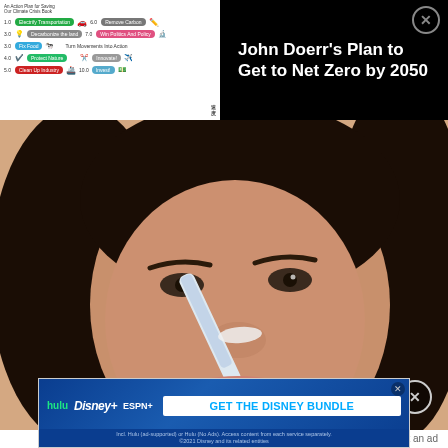[Figure (screenshot): Top advertisement banner with black background. Left side shows a white panel with colorful chip labels for a climate plan infographic (John Doerr's Plan to Get to Net Zero by 2050). Right side shows title text in white on black: 'John Doerr's Plan to Get to Net Zero by 2050' with a close (X) button.]
[Figure (photo): Video frame showing a close-up of a woman with dark hair applying something white (a tool or brush) to her nose area. The background is warm-toned.]
Report an ad
[Figure (screenshot): Disney Bundle advertisement banner. Shows Hulu, Disney+, ESPN+ logos on left, 'GET THE DISNEY BUNDLE' call-to-action on blue background. Fine print: 'Incl. Hulu (ad-supported) or Hulu (No Ads). Access content from each service separately. ©2021 Disney and its related entities']